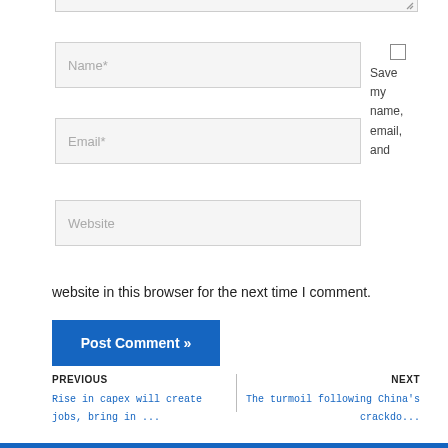[Figure (screenshot): Web form with Name*, Email*, and Website input fields, a checkbox with 'Save my name, email, and' text, a 'website in this browser for the next time I comment.' text, and a 'Post Comment »' button]
website in this browser for the next time I comment.
Post Comment »
PREVIOUS
Rise in capex will create jobs, bring in ...
NEXT
The turmoil following China's crackdo...